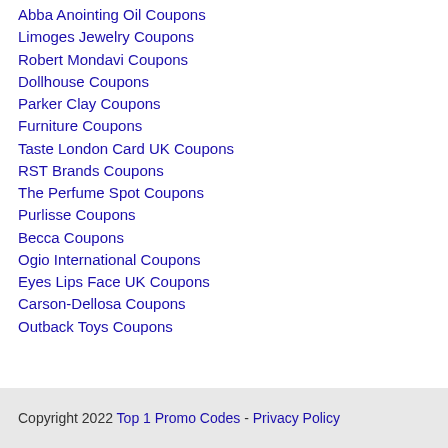Abba Anointing Oil Coupons
Limoges Jewelry Coupons
Robert Mondavi Coupons
Dollhouse Coupons
Parker Clay Coupons
Furniture Coupons
Taste London Card UK Coupons
RST Brands Coupons
The Perfume Spot Coupons
Purlisse Coupons
Becca Coupons
Ogio International Coupons
Eyes Lips Face UK Coupons
Carson-Dellosa Coupons
Outback Toys Coupons
Copyright 2022 Top 1 Promo Codes - Privacy Policy